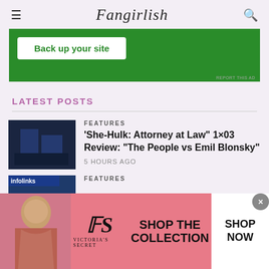Fangirlish
[Figure (other): Green advertisement banner with white button 'Back up your site']
LATEST POSTS
[Figure (photo): Dark blue thumbnail image for She-Hulk article]
FEATURES
'She-Hulk: Attorney at Law' 1×03 Review: 'The People vs Emil Blonsky'
5 HOURS AGO
[Figure (photo): Infolinks second post thumbnail]
FEATURES
[Figure (other): Victoria's Secret advertisement banner with model, VS logo, SHOP THE COLLECTION text and SHOP NOW button]